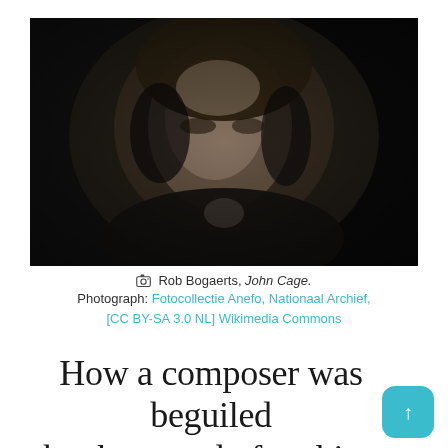[Figure (photo): Black and white portrait photograph of John Cage, an elderly man with grey hair looking directly at the camera, with a dark background.]
Rob Bogaerts, John Cage. Photograph: Fotocollectie Anefo, Nationaal Archief, [CC BY-SA 3.0 NL] Wikimedia Commons
How a composer was beguiled by the sound of nothing